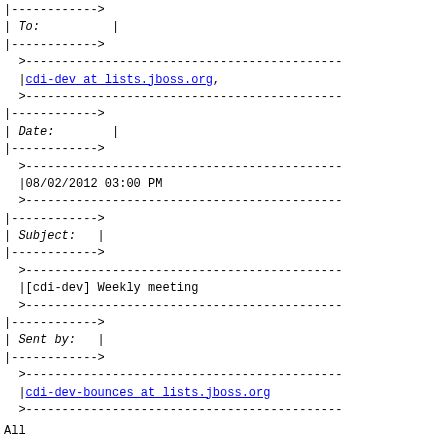|------------>
| To:         |
|------------>
>--------------------------------------------
|cdi-dev at lists.jboss.org,
>--------------------------------------------
|------------>
| Date:        |
|------------>
>--------------------------------------------
|08/02/2012 03:00 PM
>--------------------------------------------
|------------>
| Subject:   |
|------------>
>--------------------------------------------
|[cdi-dev] Weekly meeting
>--------------------------------------------
|------------>
| Sent by:   |
|------------>
>--------------------------------------------
|cdi-dev-bounces at lists.jboss.org
>--------------------------------------------
All